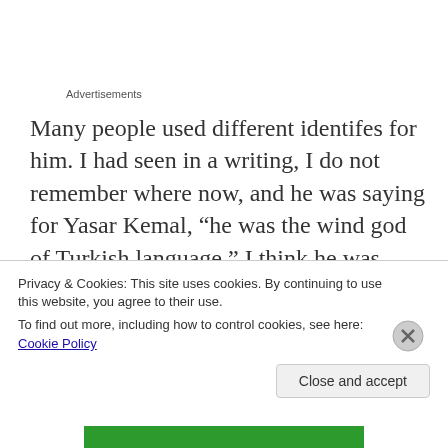Advertisements
Many people used different identifes for him. I had seen in a writing, I do not remember where now, and he was saying for Yasar Kemal, “he was the wind god of Turkish language.” I think he was right about this.
Yasar Kemal’s politic opinions have been
Privacy & Cookies: This site uses cookies. By continuing to use this website, you agree to their use.
To find out more, including how to control cookies, see here: Cookie Policy
Close and accept